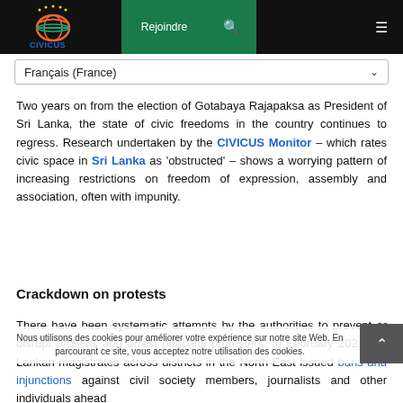CIVICUS | Rejoindre | Search | Menu
Français (France)
Two years on from the election of Gotabaya Rajapaksa as President of Sri Lanka, the state of civic freedoms in the country continues to regress. Research undertaken by the CIVICUS Monitor – which rates civic space in Sri Lanka as 'obstructed' – shows a worrying pattern of increasing restrictions on freedom of expression, assembly and association, often with impunity.
Crackdown on protests
There have been systematic attempts by the authorities to prevent or disrupt protests and arrest peaceful protesters. In February 2021, Sri Lankan magistrates across districts in the North-East issued bans and injunctions against civil society members, journalists and other individuals ahead